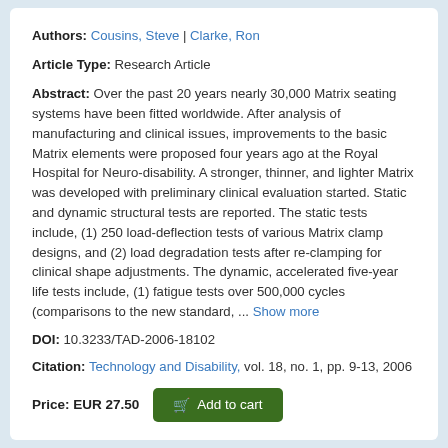Authors: Cousins, Steve | Clarke, Ron
Article Type: Research Article
Abstract: Over the past 20 years nearly 30,000 Matrix seating systems have been fitted worldwide. After analysis of manufacturing and clinical issues, improvements to the basic Matrix elements were proposed four years ago at the Royal Hospital for Neuro-disability. A stronger, thinner, and lighter Matrix was developed with preliminary clinical evaluation started. Static and dynamic structural tests are reported. The static tests include, (1) 250 load-deflection tests of various Matrix clamp designs, and (2) load degradation tests after re-clamping for clinical shape adjustments. The dynamic, accelerated five-year life tests include, (1) fatigue tests over 500,000 cycles (comparisons to the new standard, ... Show more
DOI: 10.3233/TAD-2006-18102
Citation: Technology and Disability, vol. 18, no. 1, pp. 9-13, 2006
Price: EUR 27.50  Add to cart